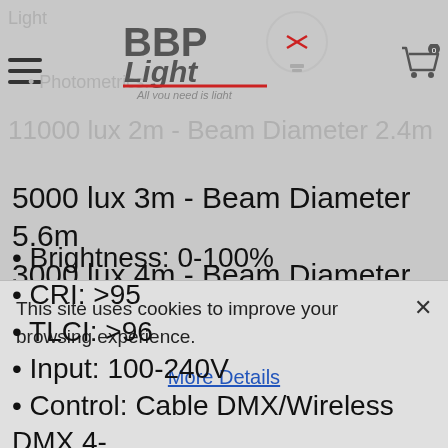BBP Light — All you need is light (website header with logo and cart icon)
Light
• Photometrics:
11000 lux 2m - Beam Diameter 2.4m
5000 lux 3m - Beam Diameter 5.6m
3000 lux 4m - Beam Diameter 6.8m
• Aluminum casting
• Color temperature: 2800-6500K
• Brightness: 0-100%
• CRI: >95
• TLCI: >96
• Input: 100-240V
• Control: Cable DMX/Wireless DMX 4-
This site uses cookies to improve your browsing experience.
More Details